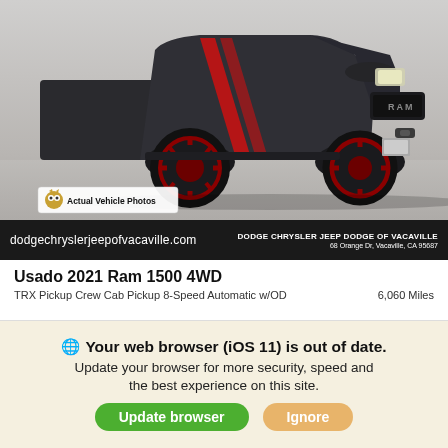[Figure (photo): Dark grey/black 2021 Ram 1500 TRX pickup truck with red stripe accents and red wheels, photographed outdoors on a paved surface against a light grey background. 'Actual Vehicle Photos' badge with owl logo in bottom-left corner.]
dodgechryslerjeepofvacaville.com
DODGE CHRYSLER JEEP DODGE OF VACAVILLE
68 Orange Dr, Vacaville, CA 95687
Usado 2021 Ram 1500 4WD
TRX Pickup Crew Cab Pickup 8-Speed Automatic w/OD    6,060 Miles
| Retail Price | Sale Price |
| --- | --- |
| $106,579 | $96,890 |
Your web browser (iOS 11) is out of date. Update your browser for more security, speed and the best experience on this site.
Update browser   Ignore